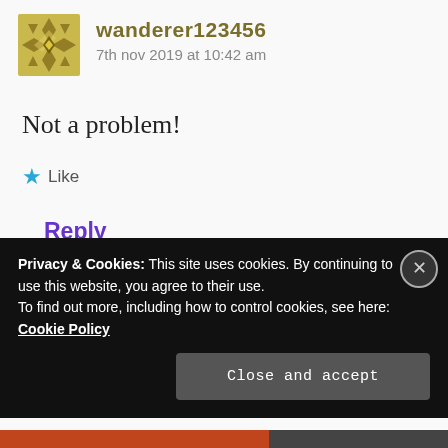[Figure (illustration): Geometric patterned avatar icon in gold/olive color with diamond/cross quilt design]
wanderer123456
7th nov 2019 at 10:42 am
Not a problem!
★ Like
Reply
Privacy & Cookies: This site uses cookies. By continuing to use this website, you agree to their use.
To find out more, including how to control cookies, see here: Cookie Policy
Close and accept